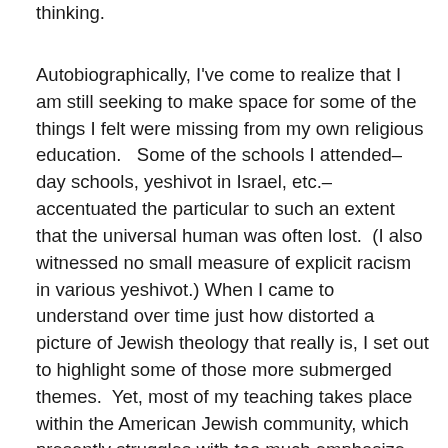thinking.
Autobiographically, I've come to realize that I am still seeking to make space for some of the things I felt were missing from my own religious education.   Some of the schools I attended– day schools, yeshivot in Israel, etc.– accentuated the particular to such an extent that the universal human was often lost.  (I also witnessed no small measure of explicit racism in various yeshivot.) When I came to understand over time just how distorted a picture of Jewish theology that really is, I set out to highlight some of those more submerged themes.  Yet, most of my teaching takes place within the American Jewish community, which presently struggles with too much emphasize on universalism so that the particular threatens to become submerged (a trend of which I have been extremely critical).  That requires some re-calibrating